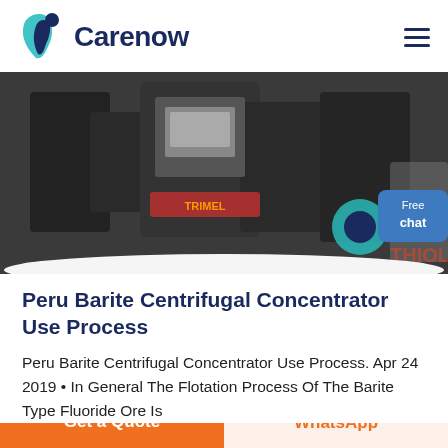[Figure (logo): Carenow logo with teal leaf/chat icon and dark navy bold text]
[Figure (photo): Industrial mining or crushing equipment in a factory setting, black and white photo with some colored elements including a teal wheel and red text. A woman in a lab coat appears in the bottom right corner with a blue 'Free chat' button overlay.]
Peru Barite Centrifugal Concentrator Use Process
Peru Barite Centrifugal Concentrator Use Process. Apr 24 2019 • In General The Flotation Process Of The Barite Type Fluoride Ore Is